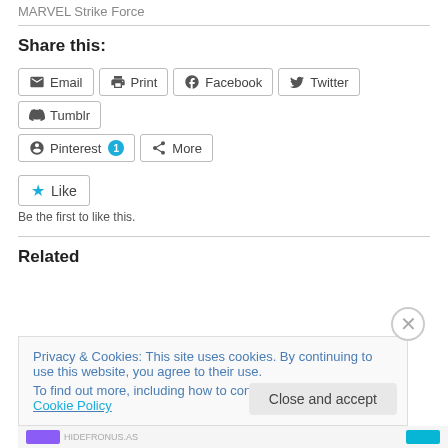MARVEL Strike Force
Share this:
Email  Print  Facebook  Twitter  Tumblr  Pinterest 1  More
Like  Be the first to like this.
Related
Privacy & Cookies: This site uses cookies. By continuing to use this website, you agree to their use. To find out more, including how to control cookies, see here: Cookie Policy